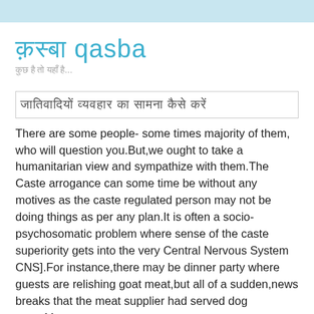क़स्बा qasba
कुछ है तो यहाँ है...
जातिवादियों व्यवहार का सामना कैसे करें
There are some people- some times majority of them, who will question you.But,we ought to take a humanitarian view and sympathize with them.The Caste arrogance can some time be without any motives as the caste regulated person may not be doing things as per any plan.It is often a socio-psychosomatic problem where sense of the caste superiority gets into the very Central Nervous System CNS].For instance,there may be dinner party where guests are relishing goat meat,but all of a sudden,news breaks that the meat supplier had served dog meat.Many guests can